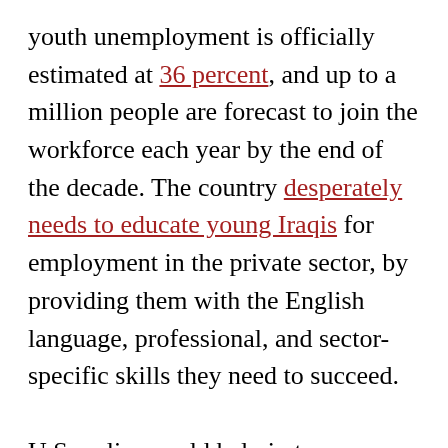youth unemployment is officially estimated at 36 percent, and up to a million people are forecast to join the workforce each year by the end of the decade. The country desperately needs to educate young Iraqis for employment in the private sector, by providing them with the English language, professional, and sector-specific skills they need to succeed.

U.S. policy could help in two areas. One is helping to devise, fund, and possibly administer education-to-employment initiatives designed to provide young Iraqis